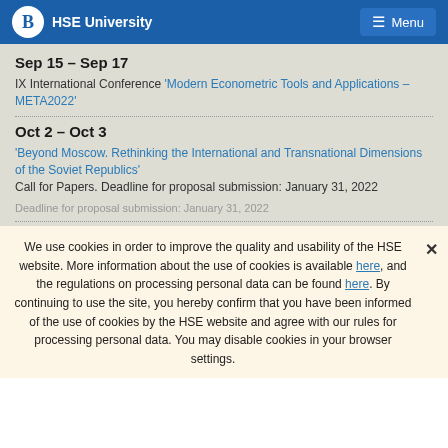HSE University  Menu
Sep 15 – Sep 17
IX International Conference 'Modern Econometric Tools and Applications – META2022'
Oct 2 – Oct 3
'Beyond Moscow. Rethinking the International and Transnational Dimensions of the Soviet Republics' Call for Papers. Deadline for proposal submission: January 31, 2022
Deadline for proposal submission: January 31, 2022
We use cookies in order to improve the quality and usability of the HSE website. More information about the use of cookies is available here, and the regulations on processing personal data can be found here. By continuing to use the site, you hereby confirm that you have been informed of the use of cookies by the HSE website and agree with our rules for processing personal data. You may disable cookies in your browser settings.